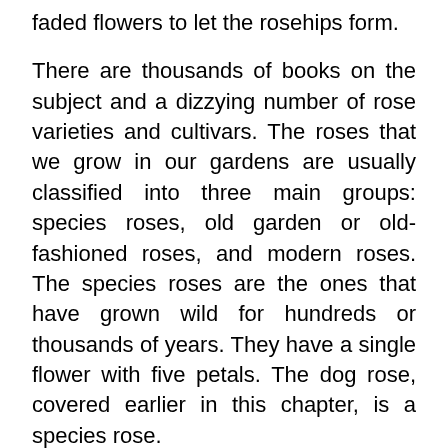faded flowers to let the rosehips form.
There are thousands of books on the subject and a dizzying number of rose varieties and cultivars. The roses that we grow in our gardens are usually classified into three main groups: species roses, old garden or old-fashioned roses, and modern roses. The species roses are the ones that have grown wild for hundreds or thousands of years. They have a single flower with five petals. The dog rose, covered earlier in this chapter, is a species rose.
The old garden or old-fashioned roses (sometimes called heritage or historic roses) are hybrids that were introduced